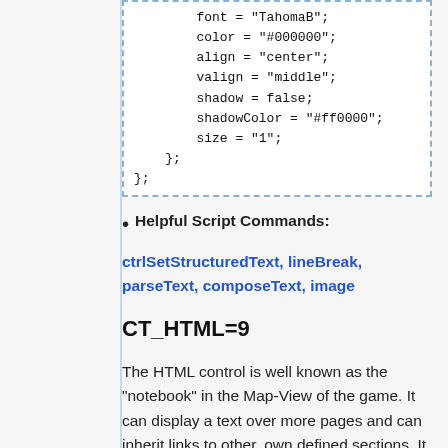[Figure (other): Code block showing font, color, align, valign, shadow, shadowColor, size properties and closing braces]
Helpful Script Commands:
ctrlSetStructuredText, lineBreak, parseText, composeText, image
CT_HTML=9
The HTML control is well known as the "notebook" in the Map-View of the game. It can display a text over more pages and can inherit links to other, own defined sections. It has some simple formatting possibilities. It also can display images.